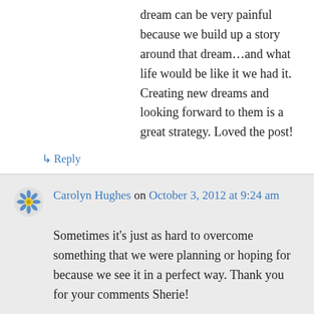dream can be very painful because we build up a story around that dream…and what life would be like it we had it. Creating new dreams and looking forward to them is a great strategy. Loved the post!
↳ Reply
Carolyn Hughes on October 3, 2012 at 9:24 am
Sometimes it's just as hard to overcome something that we were planning or hoping for because we see it in a perfect way. Thank you for your comments Sherie!
↳ Reply